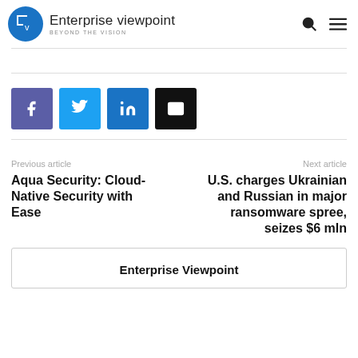Enterprise viewpoint — Beyond The Vision
[Figure (logo): Enterprise Viewpoint logo: blue circle with 'Ev' monogram, text 'Enterprise viewpoint' and tagline 'Beyond The Vision']
[Figure (infographic): Social share buttons: Facebook (purple), Twitter (light blue), LinkedIn (blue), Email (black)]
Previous article
Aqua Security: Cloud-Native Security with Ease
Next article
U.S. charges Ukrainian and Russian in major ransomware spree, seizes $6 mln
Enterprise Viewpoint